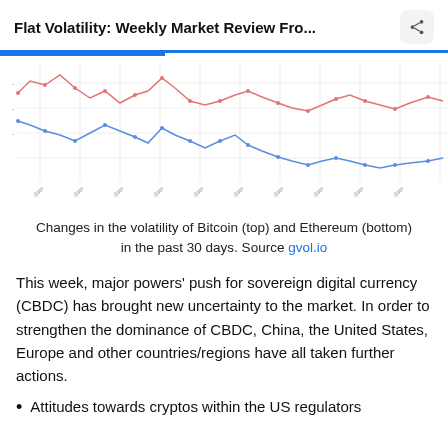Flat Volatility: Weekly Market Review Fro...
[Figure (continuous-plot): Two line charts showing changes in volatility of Bitcoin (top line, red/pink) and Ethereum (bottom line, blue) over the past 30 days. Both lines show a general downward trend with fluctuations.]
Changes in the volatility of Bitcoin (top) and Ethereum (bottom) in the past 30 days. Source gvol.io
This week, major powers' push for sovereign digital currency (CBDC) has brought new uncertainty to the market. In order to strengthen the dominance of CBDC, China, the United States, Europe and other countries/regions have all taken further actions.
Attitudes towards cryptos within the US regulators